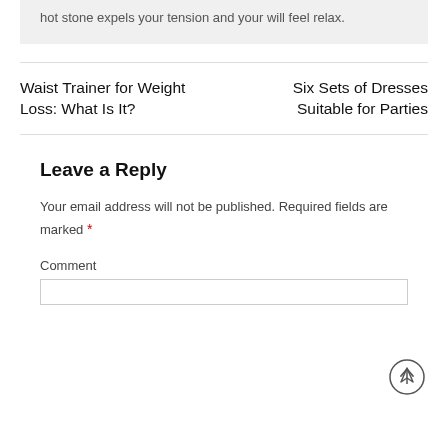hot stone expels your tension and your will feel relax.
Waist Trainer for Weight Loss: What Is It?
Six Sets of Dresses Suitable for Parties
Leave a Reply
Your email address will not be published. Required fields are marked *
Comment